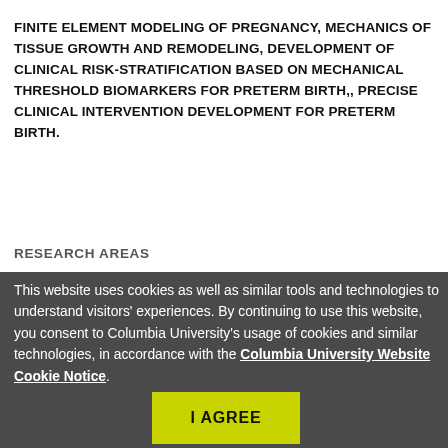FINITE ELEMENT MODELING OF PREGNANCY, MECHANICS OF TISSUE GROWTH AND REMODELING, DEVELOPMENT OF CLINICAL RISK-STRATIFICATION BASED ON MECHANICAL THRESHOLD BIOMARKERS FOR PRETERM BIRTH,, PRECISE CLINICAL INTERVENTION DEVELOPMENT FOR PRETERM BIRTH.
RESEARCH AREAS
This website uses cookies as well as similar tools and technologies to understand visitors' experiences. By continuing to use this website, you consent to Columbia University's usage of cookies and similar technologies, in accordance with the Columbia University Website Cookie Notice.
I AGREE